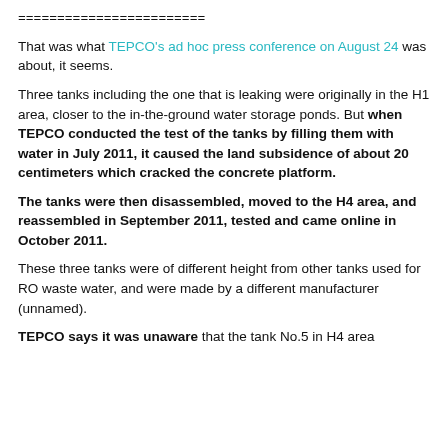========================
That was what TEPCO's ad hoc press conference on August 24 was about, it seems.
Three tanks including the one that is leaking were originally in the H1 area, closer to the in-the-ground water storage ponds. But when TEPCO conducted the test of the tanks by filling them with water in July 2011, it caused the land subsidence of about 20 centimeters which cracked the concrete platform.
The tanks were then disassembled, moved to the H4 area, and reassembled in September 2011, tested and came online in October 2011.
These three tanks were of different height from other tanks used for RO waste water, and were made by a different manufacturer (unnamed).
TEPCO says it was unaware that the tank No.5 in H4 area